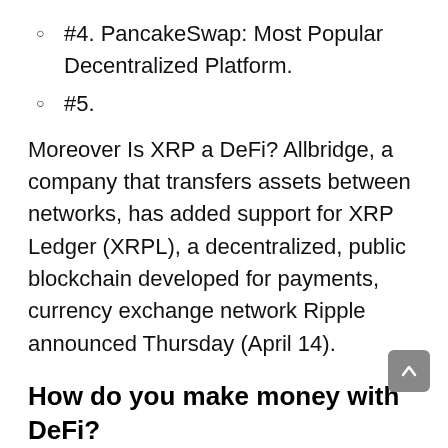#4. PancakeSwap: Most Popular Decentralized Platform.
#5.
Moreover Is XRP a DeFi? Allbridge, a company that transfers assets between networks, has added support for XRP Ledger (XRPL), a decentralized, public blockchain developed for payments, currency exchange network Ripple announced Thursday (April 14).
How do you make money with DeFi?
Deposit crypto in DeFi for an APY
The simplest way to earn a passive income through